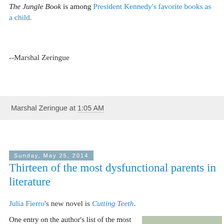The Jungle Book is among President Kennedy's favorite books as a child.
--Marshal Zeringue
Marshal Zeringue at 1:05 AM
Sunday, May 25, 2014
Thirteen of the most dysfunctional parents in literature
Julia Fierro's new novel is Cutting Teeth.
One entry on the author's list of the most dysfunctional parents in literature, as shared at the Huffington Post:
[Figure (photo): Book cover showing landscape with text 'JEFFREY EUGENIDES']
Mr. & Mrs. Lisbon in The Virgin Suicides by Jeffrey